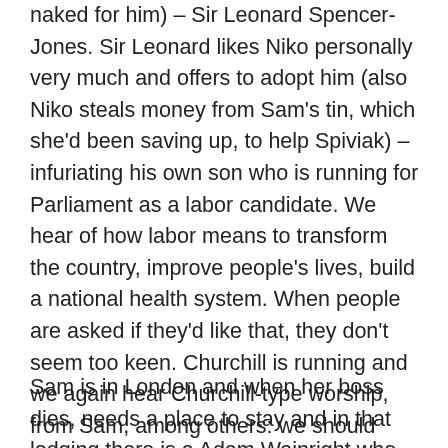naked for him) – Sir Leonard Spencer-Jones. Sir Leonard likes Niko personally very much and offers to adopt him (also Niko steals money from Sam's tin, which she'd been saving up, to help Spiviak) – infuriating his own son who is running for Parliament as a labor candidate. We hear of how labor means to transform the country, improve people's lives, build a national health system. When people are asked if they'd like that, they don't seem too keen. Churchill is running and we again hear Churchill-type worship, from Sam, among others: we should stay with him.
Sam is in London and when her boss dies, needs a place to stay and in that lodging there is a Adam Wainright who also comes from